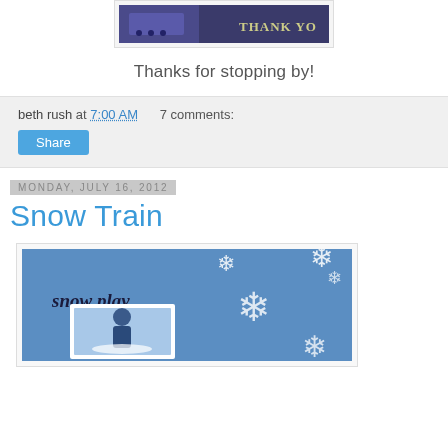[Figure (photo): Cropped photo of a card showing 'THANK YOU' text against a dark blue/purple background]
Thanks for stopping by!
beth rush at 7:00 AM   7 comments:
Share
Monday, July 16, 2012
Snow Train
[Figure (photo): A scrapbook page with blue background, white snowflake decorations, text reading 'snow play' in cursive, and a photo of a child in snow gear standing in snow]